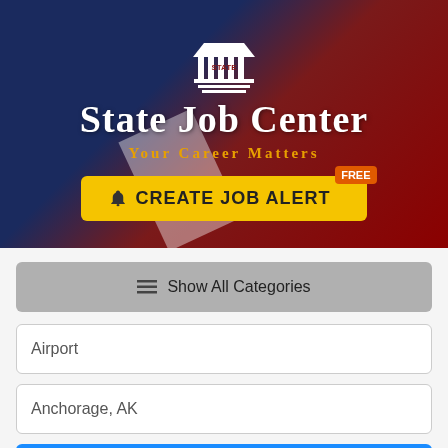[Figure (screenshot): State Job Center hero banner with American flag background, building/state logo, title 'STATE JOB CENTER', subtitle 'YOUR CAREER MATTERS', and a yellow 'CREATE JOB ALERT' button with 'FREE' badge]
≡ Show All Categories
Airport
Anchorage, AK
🔍 Search